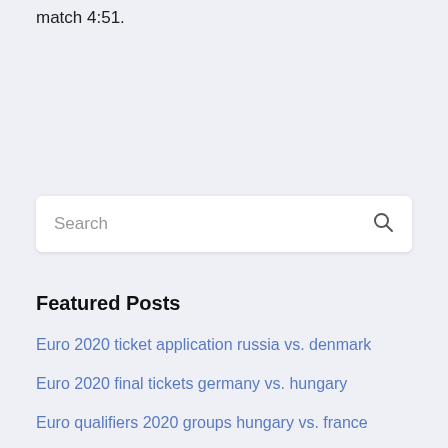match 4:51.
Featured Posts
Euro 2020 ticket application russia vs. denmark
Euro 2020 final tickets germany vs. hungary
Euro qualifiers 2020 groups hungary vs. france
Live and free sweden vs. poland